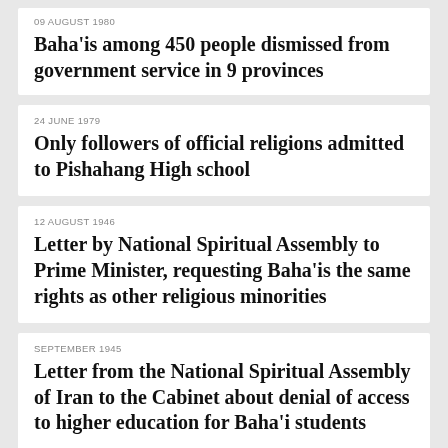09 AUGUST 1980
Baha'is among 450 people dismissed from government service in 9 provinces
24 JUNE 1979
Only followers of official religions admitted to Pishahang High school
12 AUGUST 1946
Letter by National Spiritual Assembly to Prime Minister, requesting Baha'is the same rights as other religious minorities
SEPTEMBER 1945
Letter from the National Spiritual Assembly of Iran to the Cabinet about denial of access to higher education for Baha'i students